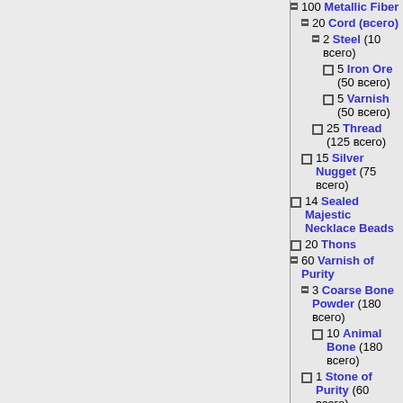100 Metallic Fiber
20 Cord (всего)
2 Steel (10 всего)
5 Iron Ore (50 всего)
5 Varnish (50 всего)
25 Thread (125 всего)
15 Silver Nugget (75 всего)
14 Sealed Majestic Necklace Beads
20 Thons
60 Varnish of Purity
3 Coarse Bone Powder (180 всего)
10 Animal Bone (180 всего)
1 Stone of Purity (60 всего)
3 Varnish (180 всего)